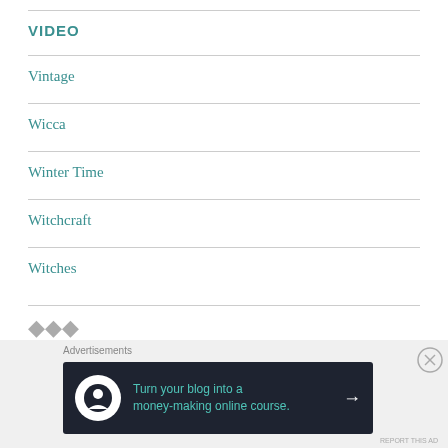VIDEO
Vintage
Wicca
Winter Time
Witchcraft
Witches
[Figure (infographic): Advertisement banner: dark background with tree/person icon, text 'Turn your blog into a money-making online course.' with arrow, labeled 'Advertisements']